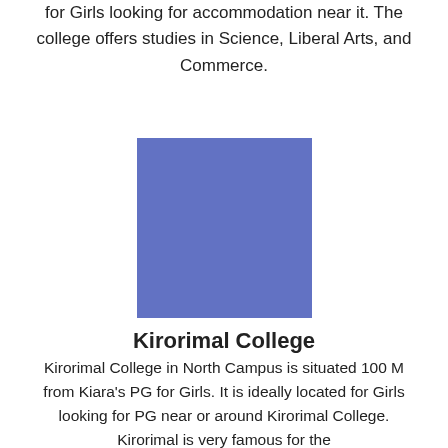for Girls looking for accommodation near it. The college offers studies in Science, Liberal Arts, and Commerce.
[Figure (illustration): Blue square placeholder image representing Kirorimal College, with the text 'Kirorimal College' below it.]
Kirorimal College
Kirorimal College in North Campus is situated 100 M from Kiara's PG for Girls. It is ideally located for Girls looking for PG near or around Kirorimal College. Kirorimal is very famous for the